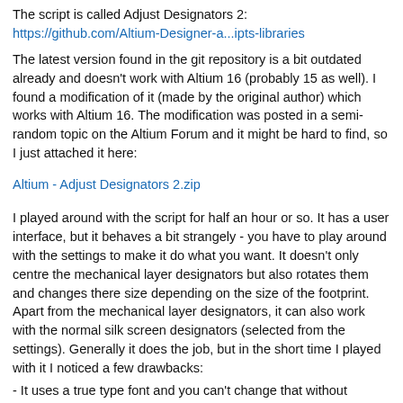The script is called Adjust Designators 2:
https://github.com/Altium-Designer-a...ipts-libraries
The latest version found in the git repository is a bit outdated already and doesn't work with Altium 16 (probably 15 as well). I found a modification of it (made by the original author) which works with Altium 16. The modification was posted in a semi-random topic on the Altium Forum and it might be hard to find, so I just attached it here:
Altium - Adjust Designators 2.zip
I played around with the script for half an hour or so. It has a user interface, but it behaves a bit strangely - you have to play around with the settings to make it do what you want. It doesn't only centre the mechanical layer designators but also rotates them and changes there size depending on the size of the footprint. Apart from the mechanical layer designators, it can also work with the normal silk screen designators (selected from the settings). Generally it does the job, but in the short time I played with it I noticed a few drawbacks:
- It uses a true type font and you can't change that without modifying the script itself (I don't know if such modification is possible and how hard would it be)
- You can only set the minimum and maximum height of the font and you can't really control how it scales up - with some of my footprints the result was not so great (too big font for example)
- It considers the footprint selection rectangle (the one that is highlighted when you select a footprint in the PCB) when determining how much to scale the font size. Many times this works well, since normally the selection rectangle has a size similar to the size of the